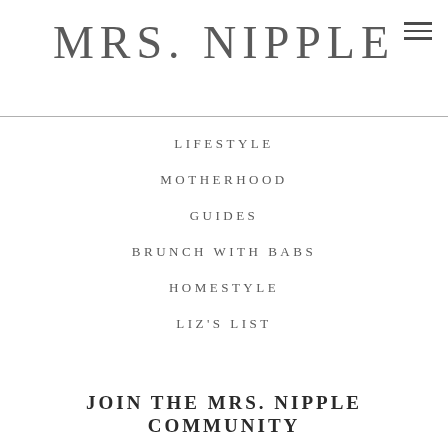MRS. NIPPLE
LIFESTYLE
MOTHERHOOD
GUIDES
BRUNCH WITH BABS
HOMESTYLE
LIZ'S LIST
JOIN THE MRS. NIPPLE COMMUNITY